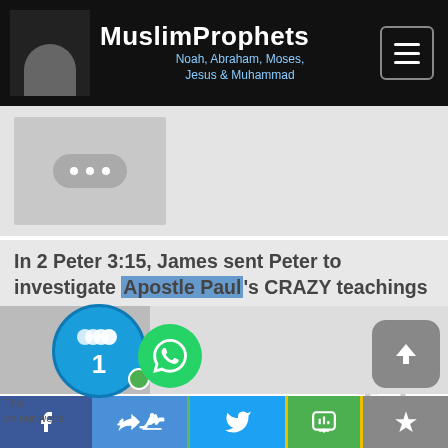MuslimProphets Noah, Abraham, Moses, Jesus & Muhammad
[Figure (screenshot): Video thumbnail placeholder with three dots icon on grey background]
In 2 Peter 3:15, James sent Peter to investigate Apostle Paul's CRAZY teachings - Jeffrey Daugherty
2175 views · 3 hrs ago | ⬆ 3 years ago
144 of 192
[Figure (logo): YouTube watermark logo with duration 29:58]
[Figure (screenshot): Second video thumbnail strip and social sharing bar with Facebook, Like, Twitter, SMS, and crown icons. Notification bubble showing 1, WhatsApp icon, scroll-to-top button.]